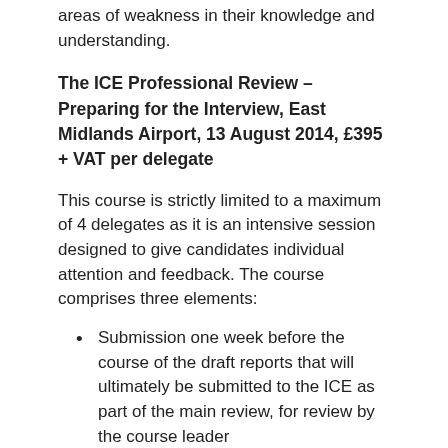areas of weakness in their knowledge and understanding.
The ICE Professional Review – Preparing for the Interview, East Midlands Airport, 13 August 2014, £395 + VAT per delegate
This course is strictly limited to a maximum of 4 delegates as it is an intensive session designed to give candidates individual attention and feedback. The course comprises three elements:
Submission one week before the course of the draft reports that will ultimately be submitted to the ICE as part of the main review, for review by the course leader
On the day the course delegates are taken through the review process before they undertake a mock interview with an experienced ICE Reviewer
Individual feedback is provided after the course, which includes commentary on questions on the draft...